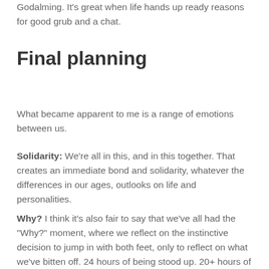Godalming. It's great when life hands up ready reasons for good grub and a chat.
Final planning
What became apparent to me is a range of emotions between us.
Solidarity: We're all in this, and in this together. That creates an immediate bond and solidarity, whatever the differences in our ages, outlooks on life and personalities.
Why? I think it's also fair to say that we've all had the "Why?" moment, where we reflect on the instinctive decision to jump in with both feet, only to reflect on what we've bitten off. 24 hours of being stood up. 20+ hours of walking. 102.9Km. These are big numbers.